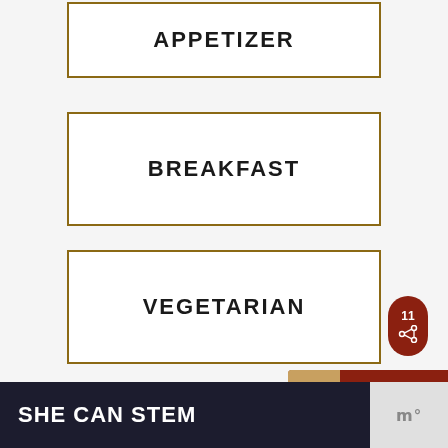APPETIZER
BREAKFAST
VEGETARIAN
SNACK
[Figure (infographic): Heart icon button (white circle with heart outline), share badge showing number 11, and a 'WHAT'S NEXT → Southwestern Guacamole...' banner with food image]
SHE CAN STEM